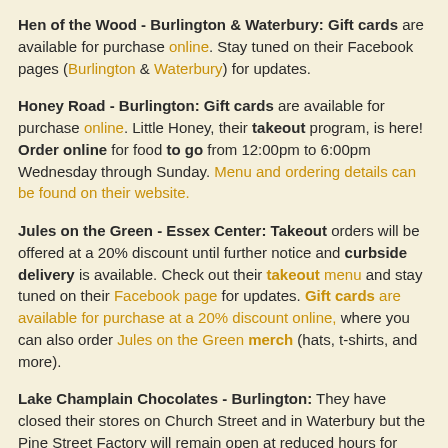Hen of the Wood - Burlington & Waterbury: Gift cards are available for purchase online. Stay tuned on their Facebook pages (Burlington & Waterbury) for updates.
Honey Road - Burlington: Gift cards are available for purchase online. Little Honey, their takeout program, is here! Order online for food to go from 12:00pm to 6:00pm Wednesday through Sunday. Menu and ordering details can be found on their website.
Jules on the Green - Essex Center: Takeout orders will be offered at a 20% discount until further notice and curbside delivery is available. Check out their takeout menu and stay tuned on their Facebook page for updates. Gift cards are available for purchase at a 20% discount online, where you can also order Jules on the Green merch (hats, t-shirts, and more).
Lake Champlain Chocolates - Burlington: They have closed their stores on Church Street and in Waterbury but the Pine Street Factory will remain open at reduced hours for pick up only. Call ahead (802-864-1807) to place your order. Online ordering for